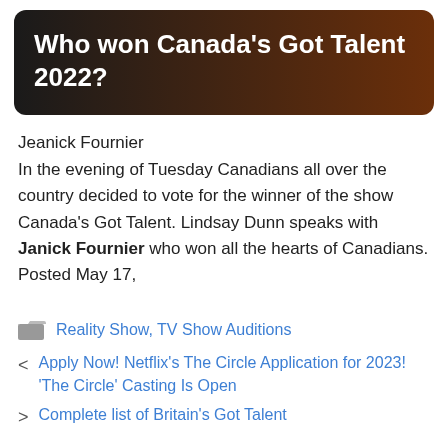Who won Canada's Got Talent 2022?
Jeanick Fournier
In the evening of Tuesday Canadians all over the country decided to vote for the winner of the show Canada's Got Talent. Lindsay Dunn speaks with Janick Fournier who won all the hearts of Canadians. Posted May 17,
Reality Show, TV Show Auditions
Apply Now! Netflix's The Circle Application for 2023! 'The Circle' Casting Is Open
Complete list of Britain's Got Talent